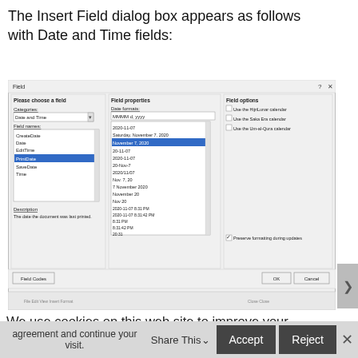The Insert Field dialog box appears as follows with Date and Time fields:
[Figure (screenshot): Screenshot of the Insert Field dialog box in LibreOffice Writer showing Date and Time fields selected. The dialog has three panels: 'Please choose a field' with Categories set to 'Date and Time' and Field names listing CreateDate, Date, EditTime, PrintDate (selected/highlighted), SaveDate, Time; 'Field properties' with Date formats list showing various date format options like 2020-11-07, Saturday November 7 2020, November 7 2020 (highlighted), 20-11-07, 2020-11-07, 20-Nov-7, 2020/11/07, Nov. 7 20, 7 November 2020, November 20, Nov 20, 2020-11-07 8:31 PM, 2020-11-07 8:31:42 PM, 8:31 PM, 8:31:42 PM, 20:31, 20:31:42; and 'Field options' with checkboxes for Use the HijriLunar calendar, Use the Saka Era calendar, Use the Um-al-Qura calendar, and Preserve formatting during updates. There are Field Codes, OK, and Cancel buttons at the bottom. Description reads: The date the document was last printed.]
We use cookies on this web site to improve your experience and for visitor analytics. By continuing your visit, you agree to our Privacy and Cookie Policy. Click Accept to indicate your agreement and continue your visit.